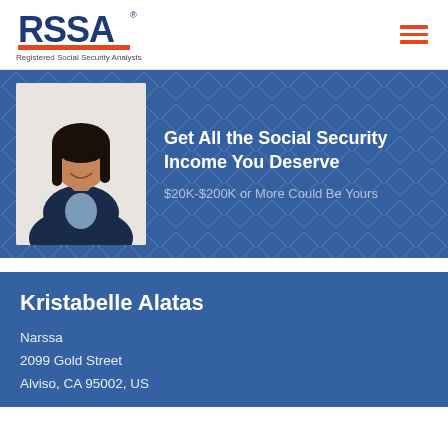[Figure (logo): RSSA logo with text 'Registered Social Security Analysts']
[Figure (photo): Professional headshot of Kristabelle Alatas, woman in dark blazer smiling]
Get All the Social Security Income You Deserve
$20K-$200K or More Could Be Yours
Kristabelle Alatas
Narssa
2099 Gold Street
Alviso, CA 95002, US